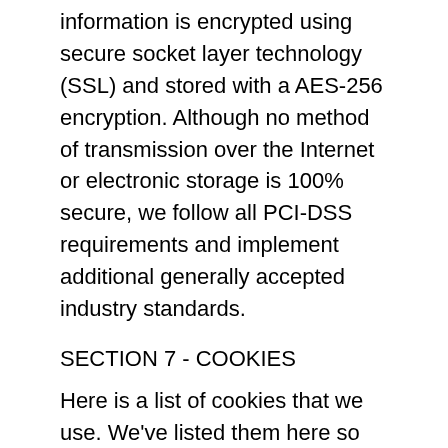information is encrypted using secure socket layer technology (SSL) and stored with a AES-256 encryption. Although no method of transmission over the Internet or electronic storage is 100% secure, we follow all PCI-DSS requirements and implement additional generally accepted industry standards.
SECTION 7 - COOKIES
Here is a list of cookies that we use. We've listed them here so you that you can choose if you want to opt-out of cookies or not.
_session_id, unique token, sessional, Allows Shopify to store information about your session (referrer, landing page, etc).
_shopify_visit, no data held, Persistent for 30 minutes from the last visit, Used by our website provider's internal stats tracker to record the number of visits